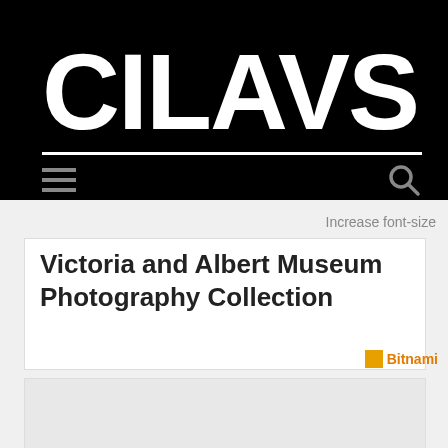[Figure (logo): CILAVS logo in large white bold text on black background with white underline]
Increase font-size
Victoria and Albert Museum Photography Collection
[Figure (other): Bitnami badge image partially visible at right edge]